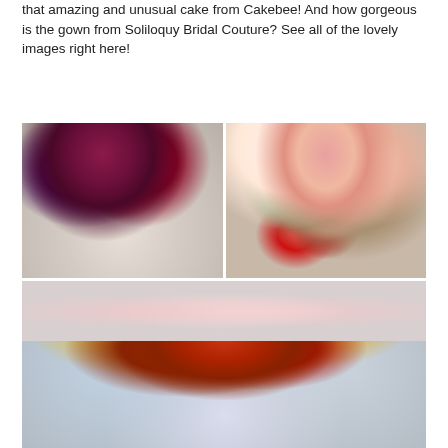that amazing and unusual cake from Cakebee! And how gorgeous is the gown from Soliloquy Bridal Couture? See all of the lovely images right here!
SEE IT
[Figure (photo): Grid of wedding-themed photos: top-left shows a white ruffle cake with dark red, purple, and magenta floral bouquet on top; top-right shows a silver urn/vase with coral and cream flowers and red pomegranates on a table; bottom shows a wide photo of pomegranates and decorative fruit arrangement with blurred bokeh background.]